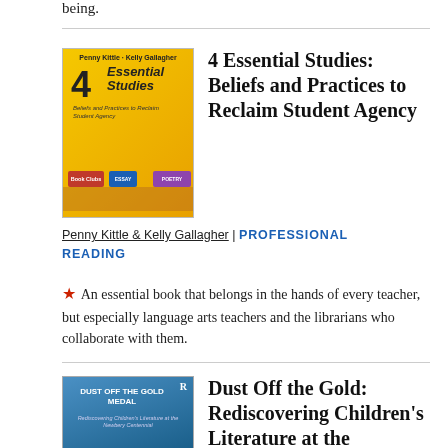being.
[Figure (illustration): Book cover of '4 Essential Studies: Beliefs and Practices to Reclaim Student Agency' by Penny Kittle and Kelly Gallagher. Yellow/gold cover with bold typography and colorful study badges.]
4 Essential Studies: Beliefs and Practices to Reclaim Student Agency
Penny Kittle & Kelly Gallagher | PROFESSIONAL READING
★ An essential book that belongs in the hands of every teacher, but especially language arts teachers and the librarians who collaborate with them.
[Figure (illustration): Book cover of 'Dust Off the Gold Medal: Rediscovering Children's Literature at the Newbery Centennial' — blue cover with Routledge logo.]
Dust Off the Gold: Rediscovering Children's Literature at the Newbery